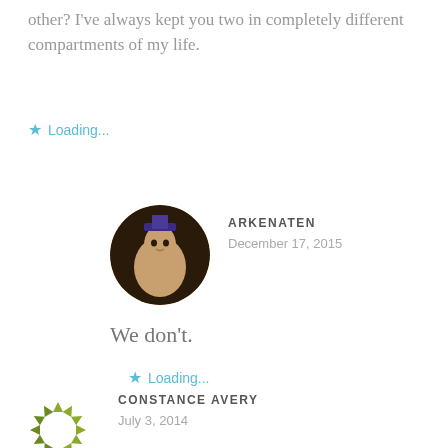other? I've always kept you two in completely different compartments of my life.
Loading...
ARKENATEN
December 17, 2015
[Figure (photo): Circular avatar photo of an Egyptian pharaoh statue (Arkenaten)]
We don't.
Loading...
CONSTANCE AVERY
July 3, 2014
[Figure (logo): Circular wreath logo made of olive/green arrow-like shapes for Constance Avery]